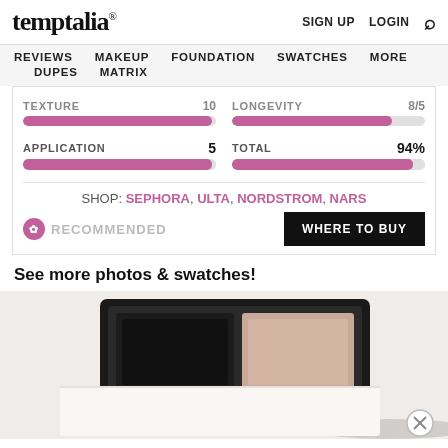temptalia®  SIGN UP  LOGIN  🔍
REVIEWS  MAKEUP  FOUNDATION  SWATCHES  MORE  DUPES  MATRIX
| Category | Score |
| --- | --- |
| TEXTURE | 10 |
| LONGEVITY | 8/5 |
| APPLICATION | 5 |
| TOTAL | 94% |
SHOP: SEPHORA, ULTA, NORDSTROM, NARS
✿ RECOMMENDED    WHERE TO BUY
See more photos & swatches!
[Figure (photo): NARS eyeshadow palette compact, open, showing dark and light pans with textured case, on light background]